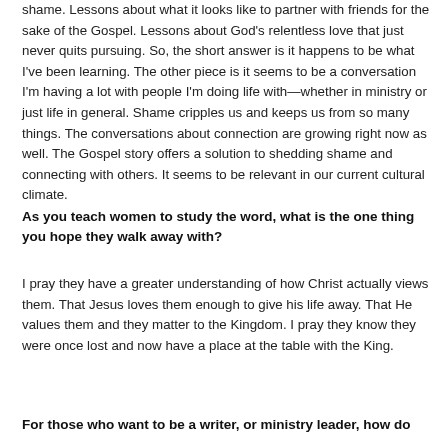shame. Lessons about what it looks like to partner with friends for the sake of the Gospel. Lessons about God's relentless love that just never quits pursuing. So, the short answer is it happens to be what I've been learning. The other piece is it seems to be a conversation I'm having a lot with people I'm doing life with—whether in ministry or just life in general. Shame cripples us and keeps us from so many things. The conversations about connection are growing right now as well. The Gospel story offers a solution to shedding shame and connecting with others. It seems to be relevant in our current cultural climate.
As you teach women to study the word, what is the one thing you hope they walk away with?
I pray they have a greater understanding of how Christ actually views them. That Jesus loves them enough to give his life away. That He values them and they matter to the Kingdom. I pray they know they were once lost and now have a place at the table with the King.
For those who want to be a writer, or ministry leader, how do